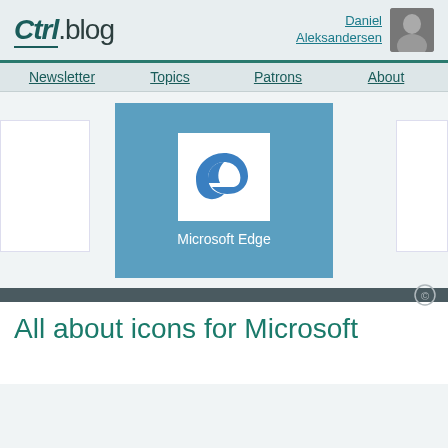Ctrl.blog — Daniel Aleksandersen
Newsletter | Topics | Patrons | About
[Figure (screenshot): Microsoft Edge browser icon on a blue tile background with text 'Microsoft Edge']
All about icons for Microsoft